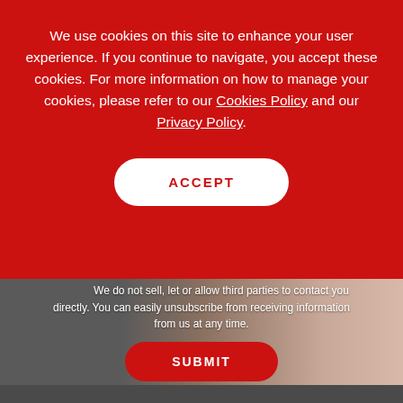We use cookies on this site to enhance your user experience. If you continue to navigate, you accept these cookies. For more information on how to manage your cookies, please refer to our Cookies Policy and our Privacy Policy.
ACCEPT
with us. We do not sell, let or allow third parties to contact you directly. You can easily unsubscribe from receiving information from us at any time.
SUBMIT